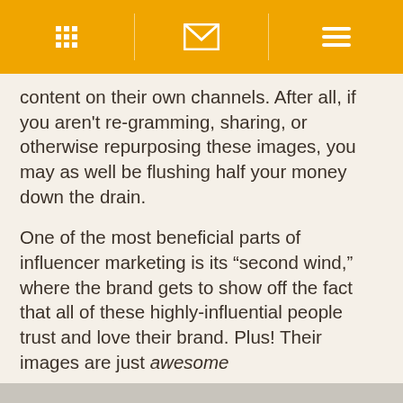[navigation bar with grid, envelope, and hamburger icons]
content on their own channels. After all, if you aren't re-gramming, sharing, or otherwise repurposing these images, you may as well be flushing half your money down the drain.
One of the most beneficial parts of influencer marketing is its “second wind,” where the brand gets to show off the fact that all of these highly-influential people trust and love their brand. Plus! Their images are just awesome